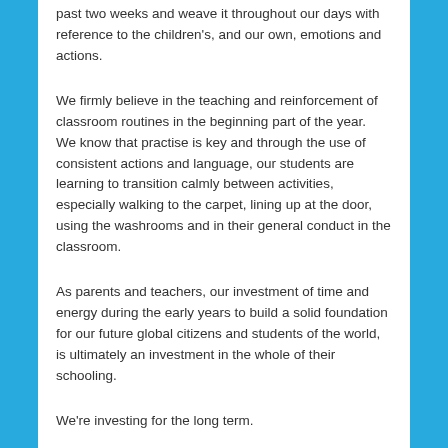past two weeks and weave it throughout our days with reference to the children's, and our own, emotions and actions.
We firmly believe in the teaching and reinforcement of classroom routines in the beginning part of the year.  We know that practise is key and through the use of consistent actions and language, our students are learning to transition calmly between activities, especially walking to the carpet, lining up at the door, using the washrooms and in their general conduct in the classroom.
As parents and teachers, our investment of time and energy during the early years to build a solid foundation for our future global citizens and students of the world, is ultimately an investment in the whole of their schooling.
We're investing for the long term.
We know that this investment in our children is going to pay off.  Big.